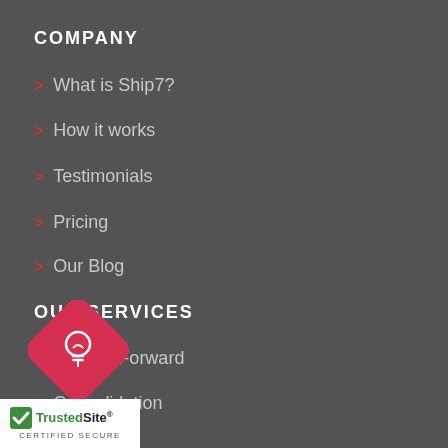COMPANY
> What is Ship7?
> How it works
> Testimonials
> Pricing
> Our Blog
OUR SERVICES
> Store & Forward
> Consolidation
> Re-packs
> Shop for me
> returns
> Shipping to UK
[Figure (illustration): Pink/red diamond-shaped icon with a white lightbulb symbol]
[Figure (logo): TrustedSite Certified Secure badge with green checkmark]